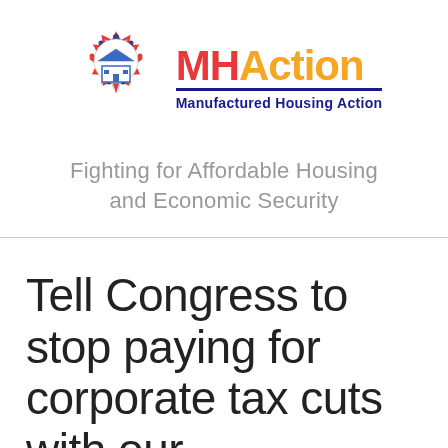[Figure (logo): MHAction logo: circular emblem with people figures in red and blue surrounding a house icon, next to bold text 'MHAction' in red and orange, with subtitle 'Manufactured Housing Action' in navy blue]
Fighting for Affordable Housing and Economic Security
Tell Congress to stop paying for corporate tax cuts with our